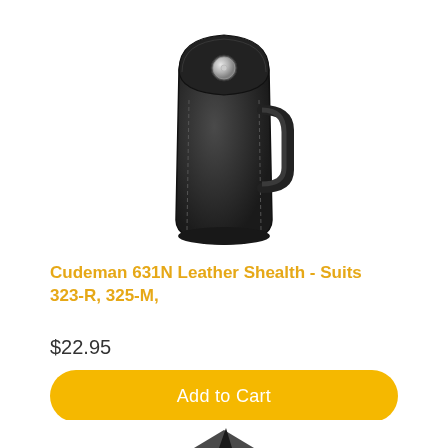[Figure (photo): Black leather knife sheath with silver snap button, shown from the front, on a white background]
Cudeman 631N Leather Shealth - Suits 323-R, 325-M,
$22.95
Add to Cart
[Figure (photo): Partial image of a dark knife blade visible at the bottom of the page]